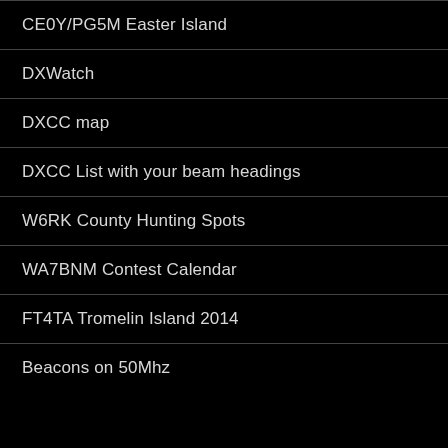CE0Y/PG5M Easter Island
DXWatch
DXCC map
DXCC List with your beam headings
W6RK County Hunting Spots
WA7BNM Contest Calendar
FT4TA Tromelin Island 2014
Beacons on 50Mhz